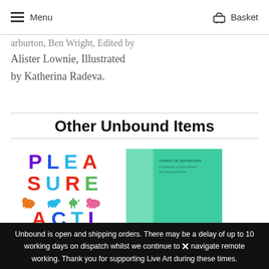Menu | Basket
Alister Lownie, Illustrated by Katherina Radeva.
Other Unbound Items
[Figure (illustration): Book cover showing 'PLEASURE ACTI' in large multicolored block letters (purple, blue, red, teal) with colorful animal silhouettes (bison, dinosaur, bird, pig) between text rows]
[Figure (illustration): Book cover with green background, showing a lighter green vertical panel on the left side, minimal text visible at top]
Unbound is open and shipping orders. There may be a delay of up to 10 working days on dispatch whilst we continue to navigate remote working. Thank you for supporting Live Art during these times.